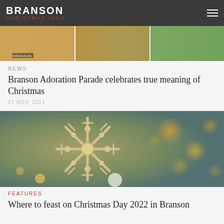BRANSON CHRISTMAS.INFO
[Figure (photo): Strip of photos from a parade or event showing people in warm colors with green trees]
NEWS
Branson Adoration Parade celebrates true meaning of Christmas
27 NOV, 2021
[Figure (photo): Close-up photo of a gold glitter snowflake ornament on a Christmas tree with bokeh orange lights in the background]
FEATURES
Where to feast on Christmas Day 2022 in Branson